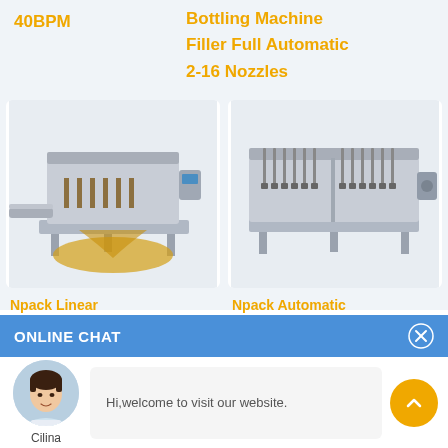40BPM
Bottling Machine Filler Full Automatic 2-16 Nozzles
[Figure (photo): Npack linear automatic filling machine with yellow oil liquid being dispensed]
[Figure (photo): Npack automatic linear piston engine filling machine, silver/grey color]
Npack Linear Automatic
Npack Automatic Linear Piston Engine
ONLINE CHAT
[Figure (photo): Avatar photo of Cilina, a customer service representative]
Cilina
Hi,welcome to visit our website.